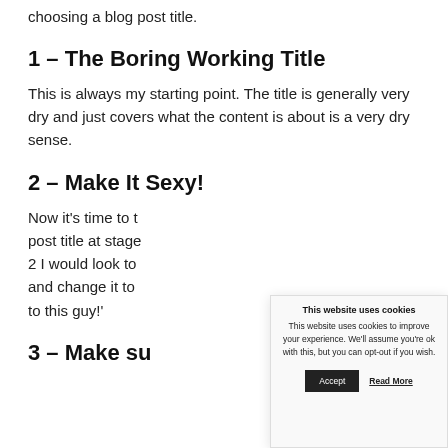choosing a blog post title.
1 – The Boring Working Title
This is always my starting point. The title is generally very dry and just covers what the content is about is a very dry sense.
2 – Make It Sexy!
Now it's time to t[he] post title at stage 2 I would look to and change it to to this guy!'
[Figure (screenshot): Cookie consent modal dialog with title 'This website uses cookies', body text 'This website uses cookies to improve your experience. We'll assume you're ok with this, but you can opt-out if you wish.', an Accept button and a Read More link.]
3 – Make su[re]